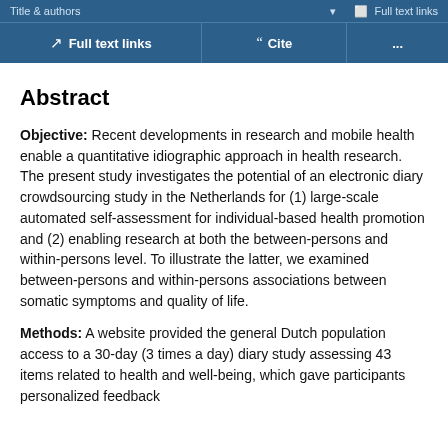Title & authors | Full text links
Full text links | Cite | ...
Abstract
Objective: Recent developments in research and mobile health enable a quantitative idiographic approach in health research. The present study investigates the potential of an electronic diary crowdsourcing study in the Netherlands for (1) large-scale automated self-assessment for individual-based health promotion and (2) enabling research at both the between-persons and within-persons level. To illustrate the latter, we examined between-persons and within-persons associations between somatic symptoms and quality of life.
Methods: A website provided the general Dutch population access to a 30-day (3 times a day) diary study assessing 43 items related to health and well-being, which gave participants personalized feedback